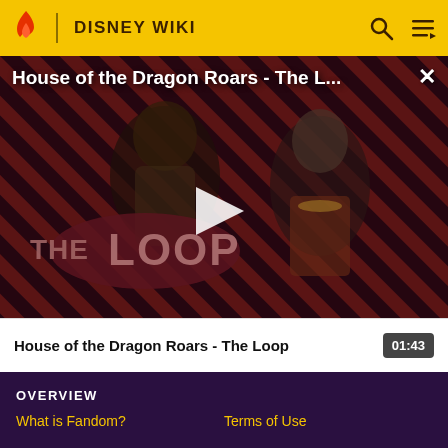DISNEY WIKI
[Figure (screenshot): Video thumbnail for 'House of the Dragon Roars - The Loop' showing two characters in medieval armor and costume against a diagonal red and black striped background with 'THE LOOP' text overlay and a play button in the center]
House of the Dragon Roars - The L...
House of the Dragon Roars - The Loop  01:43
OVERVIEW
What is Fandom?   Terms of Use